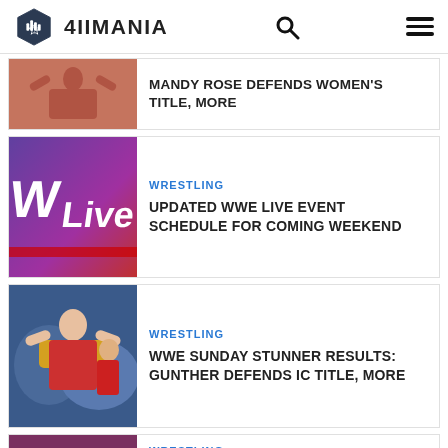4IIMANIA
[Figure (screenshot): Partial article card with wrestler image and title: MANDY ROSE DEFENDS WOMEN'S TITLE, MORE]
MANDY ROSE DEFENDS WOMEN'S TITLE, MORE
[Figure (screenshot): WWE Live event logo card]
WRESTLING
UPDATED WWE LIVE EVENT SCHEDULE FOR COMING WEEKEND
[Figure (screenshot): Gunther holding IC title championship belt]
WRESTLING
WWE SUNDAY STUNNER RESULTS: GUNTHER DEFENDS IC TITLE, MORE
[Figure (screenshot): Bianca Belair holding women's title]
WRESTLING
WWE SUNDAY STUNNER RESULTS: BIANCA BELAIR DEFENDS WOMEN'S TITLE, MORE